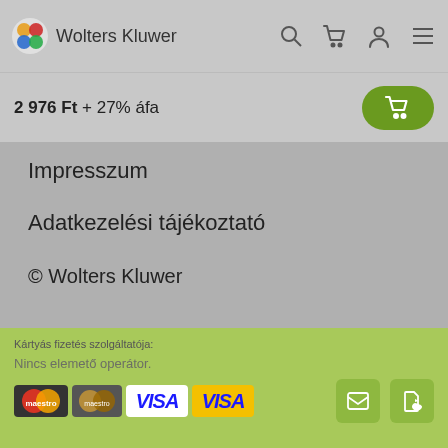Wolters Kluwer
2 976 Ft + 27% áfa
Impresszum
Adatkezelési tájékoztató
© Wolters Kluwer
Kártyás fizetés szolgáltatója:
[Figure (logo): CIB BANK logo with orange arch symbol]
Fizetési tájékoztató
Kártyás fizetés szolgáltatója: Nincs elemető operátor. Payment card logos: maestro, VISA, VISA